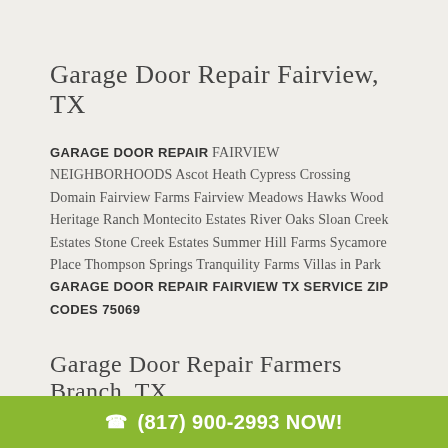Garage Door Repair Fairview, TX
GARAGE DOOR REPAIR FAIRVIEW NEIGHBORHOODS Ascot Heath Cypress Crossing Domain Fairview Farms Fairview Meadows Hawks Wood Heritage Ranch Montecito Estates River Oaks Sloan Creek Estates Stone Creek Estates Summer Hill Farms Sycamore Place Thompson Springs Tranquility Farms Villas in Park GARAGE DOOR REPAIR FAIRVIEW TX SERVICE ZIP CODES 75069
Garage Door Repair Farmers Branch, TX
GARAGE DOOR REPAIR FARMERS BRANCH NEIGHBORHOODS
(817) 900-2993 NOW!